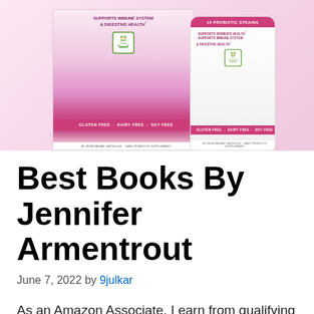[Figure (photo): Product photo showing a pink probiotic supplement box (left) and white bottle (right) with pink labels. Box reads 'Supports Immune System & Digestive Health', 'Non-GMO Project Verified', 'Gluten Free · Dairy Free · Soy Free', '30 Vegetarian Capsules Raw Probiotic Supplement'. Bottle reads '16 Probiotic Strains', 'Supports Women's Health', 'Supports Immune System & Digestive Health', 'Non-GMO Project Verified', 'Gluten Free · Dairy Free · Soy Free', '30 Vegetarian Capsules Raw Probiotic Supplement'.]
Best Books By Jennifer Armentrout
June 7, 2022 by 9julkar
As an Amazon Associate, I earn from qualifying purchase